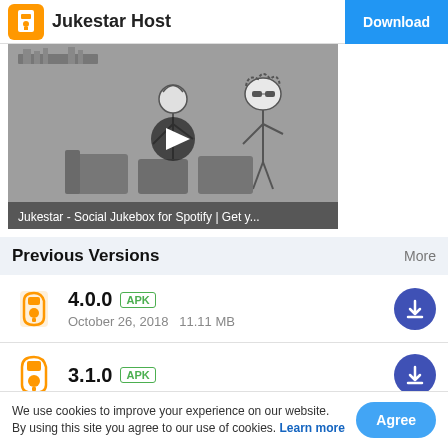Jukestar Host | Download
[Figure (screenshot): Animated sketch-style video thumbnail showing two cartoon characters in a room with a play button overlay. Caption reads: Jukestar - Social Jukebox for Spotify | Get y...]
Previous Versions
More
4.0.0 APK
October 26, 2018   11.11 MB
3.1.0 APK
We use cookies to improve your experience on our website. By using this site you agree to our use of cookies. Learn more
3.0.5